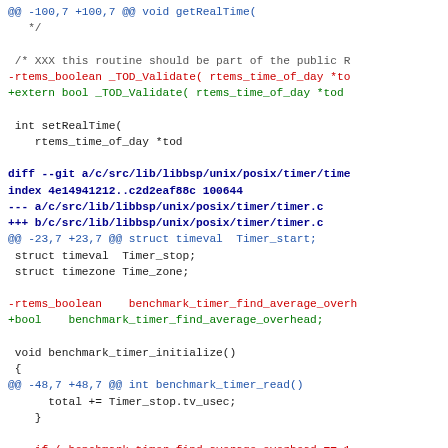diff --git a/c/src/lib/libbsp/unix/posix/timer/time... code diff patch showing changes from rtems_boolean to bool types in timer files